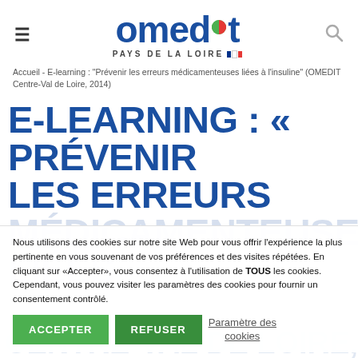[Figure (logo): OMEDIT Pays de la Loire logo with pill icon and French flag]
Accueil - E-learning : "Prévenir les erreurs médicamenteuses liées à l'insuline" (OMEDIT Centre-Val de Loire, 2014)
E-LEARNING : « PRÉVENIR LES ERREURS MÉDICAMENTEUSES LIÉS
Nous utilisons des cookies sur notre site Web pour vous offrir l'expérience la plus pertinente en vous souvenant de vos préférences et des visites répétées. En cliquant sur «Accepter», vous consentez à l'utilisation de TOUS les cookies. Cependant, vous pouvez visiter les paramètres des cookies pour fournir un consentement contrôlé.
ACCEPTER | REFUSER | Paramètre des cookies